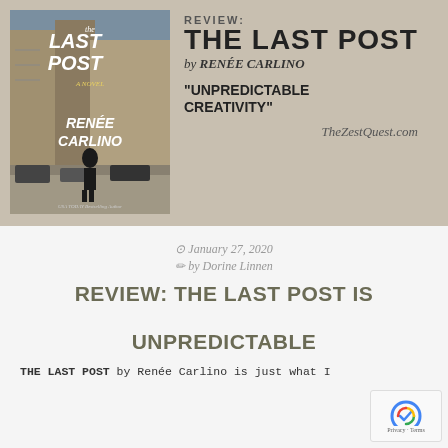[Figure (photo): Book cover of 'The Last Post' by Renée Carlino, showing a woman walking on a city street, with tall buildings, cars, and a New York City backdrop. White handwritten-style text on cover reads 'The Last Post A Novel Renée Carlino' with 'USA TODAY Bestselling Author' at bottom.]
REVIEW:
THE LAST POST
by RENÉE CARLINO
"UNPREDICTABLE CREATIVITY"
TheZestQuest.com
January 27, 2020
by Dorine Linnen
REVIEW: THE LAST POST IS UNPREDICTABLE
THE LAST POST by Renée Carlino is just what I